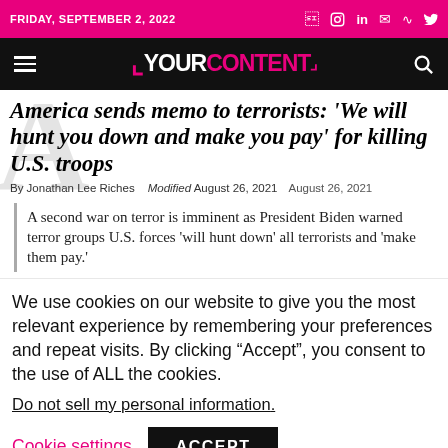FRIDAY, SEPTEMBER 2, 2022
YOUR CONTENT
America sends memo to terrorists: 'We will hunt you down and make you pay' for killing U.S. troops
By Jonathan Lee Riches   Modified August 26, 2021   August 26, 2021
A second war on terror is imminent as President Biden warned terror groups U.S. forces 'will hunt down' all terrorists and 'make them pay.'
We use cookies on our website to give you the most relevant experience by remembering your preferences and repeat visits. By clicking “Accept”, you consent to the use of ALL the cookies.
Do not sell my personal information.
Cookie settings   ACCEPT